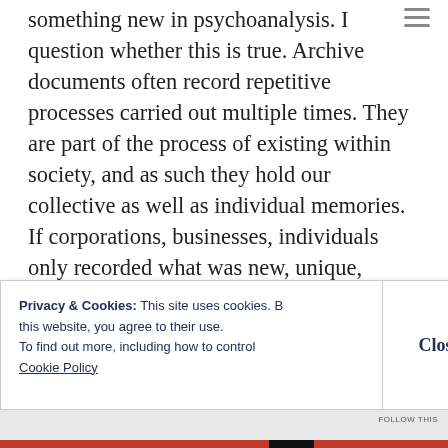something new in psychoanalysis. I question whether this is true. Archive documents often record repetitive processes carried out multiple times. They are part of the process of existing within society, and as such they hold our collective as well as individual memories. If corporations, businesses, individuals only recorded what was new, unique, original, we would have little collective memory.

Also under consideration is the destructive drive: the decision not to record an activity or not to
Privacy & Cookies: This site uses cookies. By continuing to use this website, you agree to their use.
To find out more, including how to control cookies, see here:
Cookie Policy
Close and accept